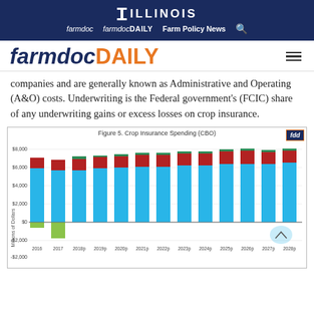ILLINOIS — farmdoc  farmdocDAILY  Farm Policy News
farmdocDAILY
companies and are generally known as Administrative and Operating (A&O) costs. Underwriting is the Federal government's (FCIC) share of any underwriting gains or excess losses on crop insurance.
[Figure (stacked-bar-chart): Figure 5. Crop Insurance Spending (CBO)]
Figure 5. Crop Insurance Spending (CBO)